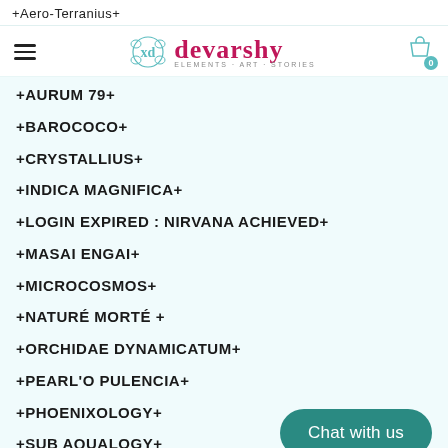+Aero-Terranius+
[Figure (logo): Devarshy brand logo with decorative symbol and pink cursive text, small subtitle text below]
+AURUM 79+
+BAROCOCO+
+CRYSTALLIUS+
+INDICA MAGNIFICA+
+LOGIN EXPIRED : NIRVANA ACHIEVED+
+MASAI ENGAI+
+MICROCOSMOS+
+NATURÉ MORTÉ +
+ORCHIDAE DYNAMICATUM+
+PEARL'O PULENCIA+
+PHOENIXOLOGY+
+SUB AQUALOGY+